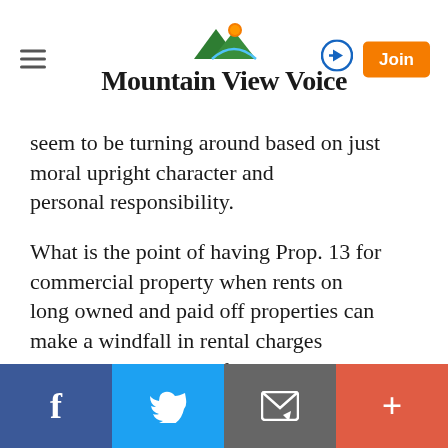Mountain View Voice
seem to be turning around based on just moral upright character and personal responsibility.
What is the point of having Prop. 13 for commercial property when rents on long owned and paid off properties can make a windfall in rental charges and not cut any slack for their lessees?
Editor, please do your job and delete personal attacks.
Report Objectionable Content